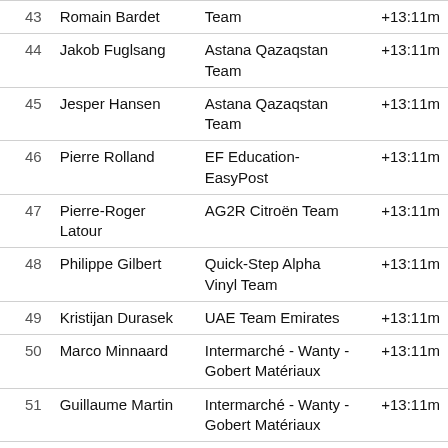| # | Rider | Team | Time |
| --- | --- | --- | --- |
| 43 | Romain Bardet | Team | +13:11m |
| 44 | Jakob Fuglsang | Astana Qazaqstan Team | +13:11m |
| 45 | Jesper Hansen | Astana Qazaqstan Team | +13:11m |
| 46 | Pierre Rolland | EF Education-EasyPost | +13:11m |
| 47 | Pierre-Roger Latour | AG2R Citroën Team | +13:11m |
| 48 | Philippe Gilbert | Quick-Step Alpha Vinyl Team | +13:11m |
| 49 | Kristijan Durasek | UAE Team Emirates | +13:11m |
| 50 | Marco Minnaard | Intermarché - Wanty - Gobert Matériaux | +13:11m |
| 51 | Guillaume Martin | Intermarché - Wanty - Gobert Matériaux | +13:11m |
| 52 | Matthias Frank | AG2R Citroën Team | +13:11m |
| 53 | Steven | Team Jumbo- | +13:11m |